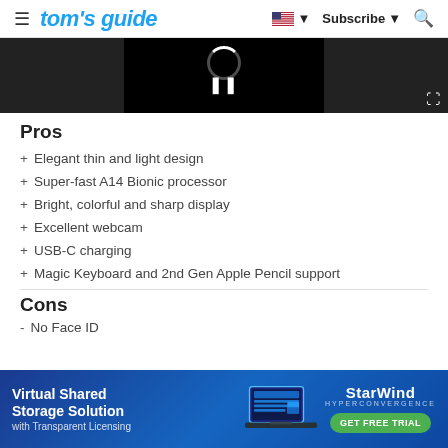tom's guide — Subscribe — Search
[Figure (screenshot): Video player area with black background, loading spinner, pause button (||), and expand icon]
Pros
+ Elegant thin and light design
+ Super-fast A14 Bionic processor
+ Bright, colorful and sharp display
+ Excellent webcam
+ USB-C charging
+ Magic Keyboard and 2nd Gen Apple Pencil support
Cons
- No Face ID
[Figure (screenshot): StarWind advertisement banner: Virtual Shared Storage Solution with Transparent Licensing, laptop image, StarWind Hyperconvergence logo, GET FREE TRIAL button]